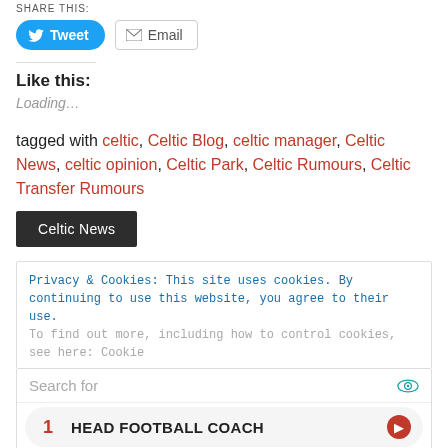SHARE THIS:
[Figure (other): Tweet button (blue rounded) and Email button (grey outlined) share buttons]
Like this:
Loading...
tagged with celtic, Celtic Blog, celtic manager, Celtic News, celtic opinion, Celtic Park, Celtic Rumours, Celtic Transfer Rumours
Celtic News
Privacy & Cookies: This site uses cookies. By continuing to use this website, you agree to their use.
To find out more, including how to control cookies, see here: Cookie
[Figure (screenshot): Ad box with Search for bar, two items: 1 HEAD FOOTBALL COACH, 2 FREE RINGTONES, and Glocal Search footer]